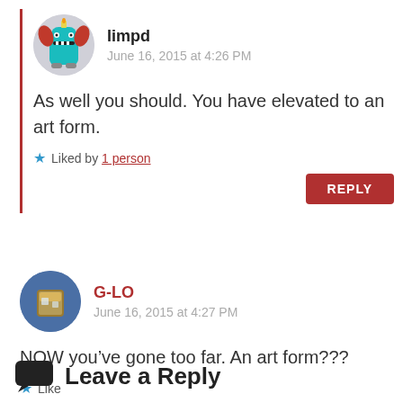limpd
June 16, 2015 at 4:26 PM
As well you should. You have elevated to an art form.
Liked by 1 person
REPLY
G-LO
June 16, 2015 at 4:27 PM
NOW you’ve gone too far. An art form???
Like
Leave a Reply